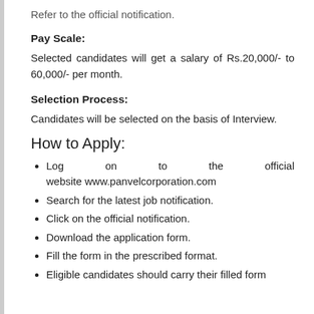Refer to the official notification.
Pay Scale:
Selected candidates will get a salary of Rs.20,000/- to 60,000/- per month.
Selection Process:
Candidates will be selected on the basis of Interview.
How to Apply:
Log on to the official website www.panvelcorporation.com
Search for the latest job notification.
Click on the official notification.
Download the application form.
Fill the form in the prescribed format.
Eligible candidates should carry their filled form